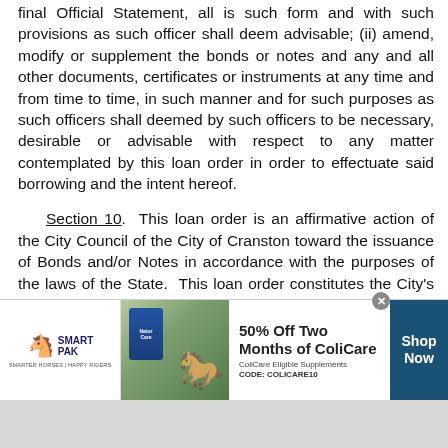final Official Statement, all is such form and with such provisions as such officer shall deem advisable; (ii) amend, modify or supplement the bonds or notes and any and all other documents, certificates or instruments at any time and from time to time, in such manner and for such purposes as such officers shall deemed by such officers to be necessary, desirable or advisable with respect to any matter contemplated by this loan order in order to effectuate said borrowing and the intent hereof.
Section 10. This loan order is an affirmative action of the City Council of the City of Cranston toward the issuance of Bonds and/or Notes in accordance with the purposes of the laws of the State. This loan order constitutes the City's declaration of official intent pursuant to Treasury Regulation Section 1.150-2 to
[Figure (illustration): SmartPak advertisement banner: logo on left, supplement product image in middle, offer text '50% Off Two Months of ColiCare' with code COLICARE10, and Shop Now button on right]